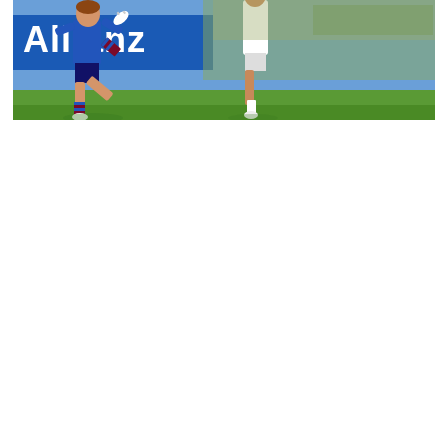[Figure (photo): Football/soccer action photo showing players in a match. One player in a blue and claret (maroon) striped kit with Allianz advertising board in background, another player in white kit. The player in striped socks is mid-kick or in dynamic motion. Green grass pitch visible at bottom.]